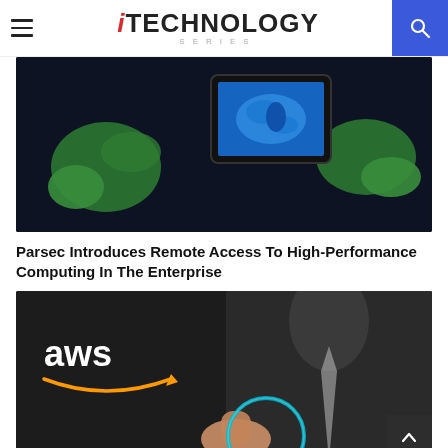iTECHNOLOGY SERIES
[Figure (photo): Dark background showing a world map globe with green continents and blue oceans, with a tablet device displaying a blue world map in the foreground]
Parsec Introduces Remote Access To High-Performance Computing In The Enterprise
[Figure (photo): Dark background with AWS logo (white text and orange arrow) in the upper left, and a person's hand pointing at a glowing blue circle/ring in the foreground]